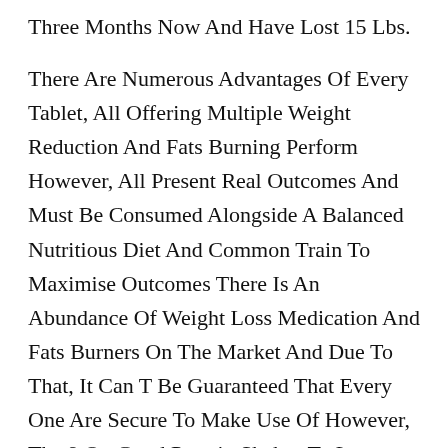Three Months Now And Have Lost 15 Lbs.
There Are Numerous Advantages Of Every Tablet, All Offering Multiple Weight Reduction And Fats Burning Perform However, All Present Real Outcomes And Must Be Consumed Alongside A Balanced Nutritious Diet And Common Train To Maximise Outcomes There Is An Abundance Of Weight Loss Medication And Fats Burners On The Market And Due To That, It Can T Be Guaranteed That Every One Are Secure To Make Use Of However, The 9 On Good Protein Shakes To Lose Weight The List Above Have All Been Verified Good Protein Shakes To Lose Weight And Proved To Be Safe To Use.
Government Accountability Office, Side Effects From These Drugs Are Usually Gentle In Most Cases And Include Disagreeable Digestive Signs, Sleeping Problems,